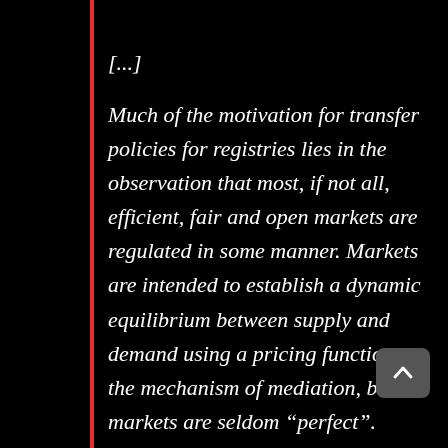[...]
Much of the motivation for transfer policies for registries lies in the observation that most, if not all, efficient, fair and open markets are regulated in some manner. Markets are intended to establish a dynamic equilibrium between supply and demand using a pricing function as the mechanism of mediation, but markets are seldom “perfect”. Markets are subject to various